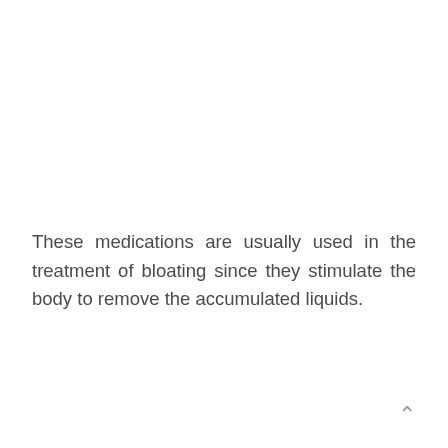These medications are usually used in the treatment of bloating since they stimulate the body to remove the accumulated liquids.